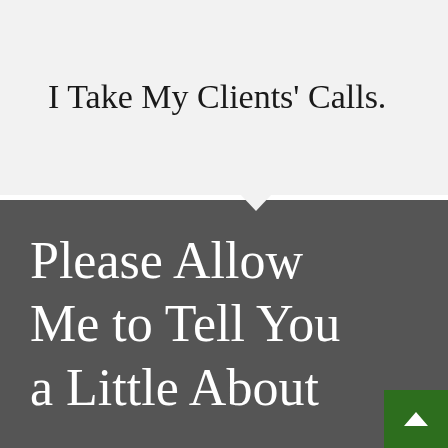I Take My Clients' Calls.
Please Allow Me to Tell You a Little About